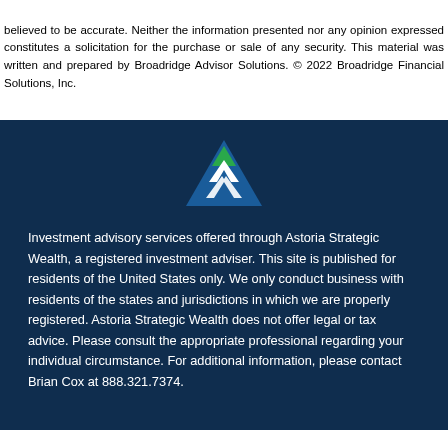believed to be accurate. Neither the information presented nor any opinion expressed constitutes a solicitation for the purchase or sale of any security. This material was written and prepared by Broadridge Advisor Solutions. © 2022 Broadridge Financial Solutions, Inc.
[Figure (logo): Astoria Strategic Wealth logo — blue triangle with green and white arrows inside]
Investment advisory services offered through Astoria Strategic Wealth, a registered investment adviser. This site is published for residents of the United States only. We only conduct business with residents of the states and jurisdictions in which we are properly registered. Astoria Strategic Wealth does not offer legal or tax advice. Please consult the appropriate professional regarding your individual circumstance. For additional information, please contact Brian Cox at 888.321.7374.